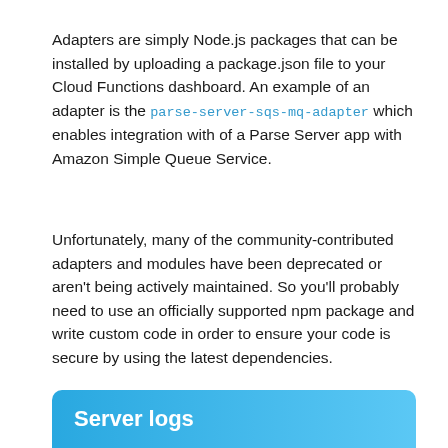Adapters are simply Node.js packages that can be installed by uploading a package.json file to your Cloud Functions dashboard. An example of an adapter is the parse-server-sqs-mq-adapter which enables integration with of a Parse Server app with Amazon Simple Queue Service.
Unfortunately, many of the community-contributed adapters and modules have been deprecated or aren't being actively maintained. So you'll probably need to use an officially supported npm package and write custom code in order to ensure your code is secure by using the latest dependencies.
Server logs